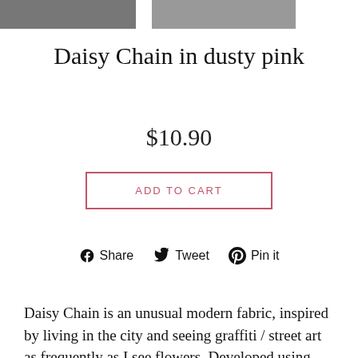[Figure (photo): Two product thumbnail photos at the top of the page]
Daisy Chain in dusty pink
$10.90
ADD TO CART
Share  Tweet  Pin it
Daisy Chain is an unusual modern fabric, inspired by living in the city and seeing graffiti / street art as frequently as I see flowers. Developed using authentic drippy graffiti pens, the motifs have been reduced in size to suit patchwork and quilting – each flower